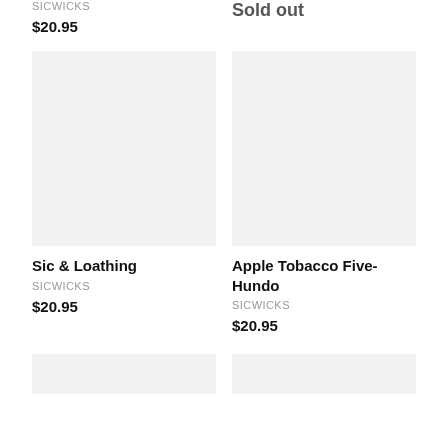SICWICKS
$20.95
Sold out
[Figure (photo): Product image placeholder - light gray rectangle for Sic & Loathing candle]
Sic & Loathing
SICWICKS
$20.95
[Figure (photo): Product image placeholder - light gray rectangle for Apple Tobacco Five-Hundo candle]
Apple Tobacco Five-Hundo
SICWICKS
$20.95
[Figure (photo): Partial product image placeholder bottom left]
[Figure (photo): Partial product image placeholder bottom right]